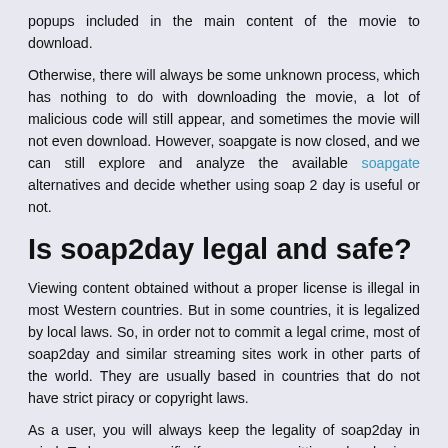popups included in the main content of the movie to download.
Otherwise, there will always be some unknown process, which has nothing to do with downloading the movie, a lot of malicious code will still appear, and sometimes the movie will not even download. However, soapgate is now closed, and we can still explore and analyze the available soapgate alternatives and decide whether using soap 2 day is useful or not.
Is soap2day legal and safe?
Viewing content obtained without a proper license is illegal in most Western countries. But in some countries, it is legalized by local laws. So, in order not to commit a legal crime, most of soap2day and similar streaming sites work in other parts of the world. They are usually based in countries that do not have strict piracy or copyright laws.
As a user, you will always keep the legality of soap2day in mind. To be very specific if you are committing a legal crime, you should consult a legal professional who can advise you on the laws and regulations of that country. Later, you can make a wise decision after knowing all the facets of using soap2day.